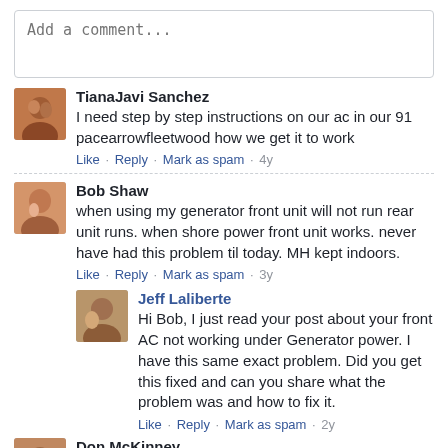Add a comment...
TianaJavi Sanchez
I need step by step instructions on our ac in our 91 pacearrowfleetwood how we get it to work
Like · Reply · Mark as spam · 4y
Bob Shaw
when using my generator front unit will not run rear unit runs. when shore power front unit works. never have had this problem til today. MH kept indoors.
Like · Reply · Mark as spam · 3y
Jeff Laliberte
Hi Bob, I just read your post about your front AC not working under Generator power. I have this same exact problem. Did you get this fixed and can you share what the problem was and how to fix it.
Like · Reply · Mark as spam · 2y
Don McKinney